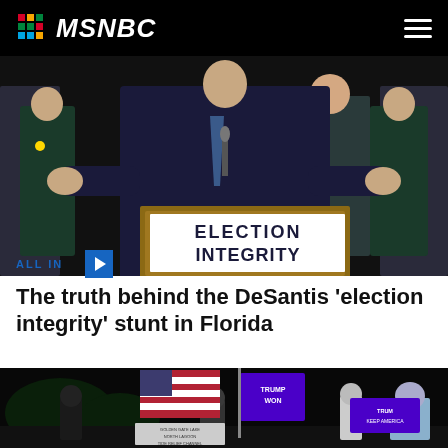MSNBC
[Figure (photo): Man in suit standing at an 'ELECTION INTEGRITY' podium with arms outstretched, flanked by uniformed officers]
ALL IN
The truth behind the DeSantis ‘election integrity’ stunt in Florida
[Figure (photo): Night scene with people waving Trump and American flags outdoors]